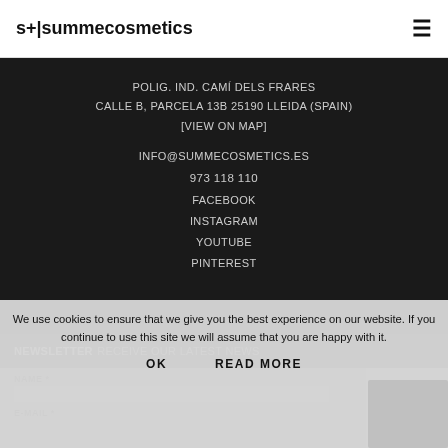s+ | summecosmetics
POLIG. IND. CAMÍ DELS FRARES
CALLE B, PARCELA 13B 25190 LLEIDA (SPAIN)
[VIEW ON MAP]
INFO@SUMMECOSMETICS.ES
973 118 110
FACEBOOK
INSTAGRAM
YOUTUBE
PINTEREST
NEWSLETTER RECEIVE OUR LATEST NEWS
We use cookies to ensure that we give you the best experience on our website. If you continue to use this site we will assume that you are happy with it.
OK    READ MORE
NAME *
E-MAIL *